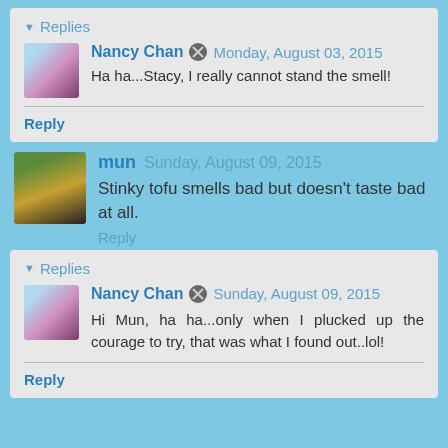▼ Replies
Nancy Chan  Monday, August 03, 2015
Ha ha...Stacy, I really cannot stand the smell!
Reply
mun  Sunday, August 09, 2015
Stinky tofu smells bad but doesn't taste bad at all.
Reply
▼ Replies
Nancy Chan  Sunday, August 09, 2015
Hi Mun, ha ha...only when I plucked up the courage to try, that was what I found out..lol!
Reply